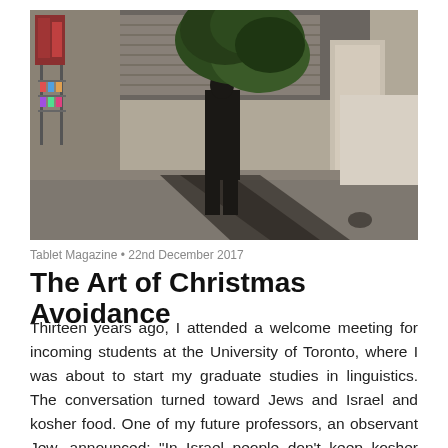[Figure (photo): Street scene photograph showing a person walking on a cobblestone street, carrying what appears to be a large tree or bush. There are market stalls with merchandise visible on the left side, and a building with a shuttered storefront in the background. Strong shadows visible on the ground.]
Tablet Magazine • 22nd December 2017
The Art of Christmas Avoidance
Thirteen years ago, I attended a welcome meeting for incoming students at the University of Toronto, where I was about to start my graduate studies in linguistics. The conversation turned toward Jews and Israel and kosher food. One of my future professors, an observant Jew, announced: "In Israel people don't keep kosher very much because they think they are Jewish enough without it." As the only Israeli in the room, I wasn't sure how to react to that. Apart from the condescending undertones and